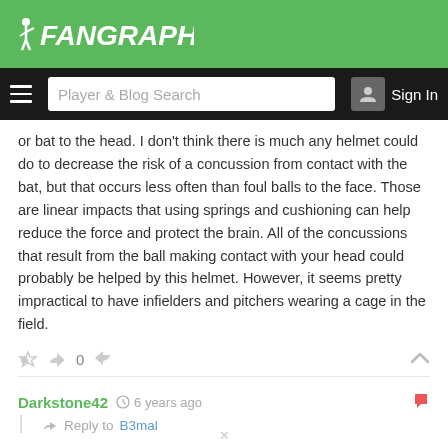FanGraphs
or bat to the head. I don't think there is much any helmet could do to decrease the risk of a concussion from contact with the bat, but that occurs less often than foul balls to the face. Those are linear impacts that using springs and cushioning can help reduce the force and protect the brain. All of the concussions that result from the ball making contact with your head could probably be helped by this helmet. However, it seems pretty impractical to have infielders and pitchers wearing a cage in the field.
0
Darkstone42  6 years ago  Reply to B3mal